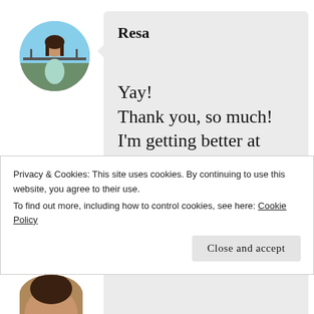[Figure (photo): Circular avatar photo of a woman in a light dress on a balcony with sky in the background]
Resa
Yay!
Thank you, so much!
I'm getting better at drawing, but I only ever studied fashion sketching. So, this is where it has taken me.
Privacy & Cookies: This site uses cookies. By continuing to use this website, you agree to their use.
To find out more, including how to control cookies, see here: Cookie Policy
Close and accept
[Figure (photo): Partial circular avatar visible at the bottom of the page]